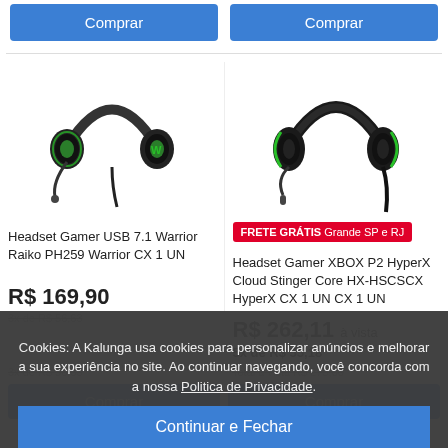[Figure (screenshot): Two blue 'Comprar' (Buy) buttons at the top]
[Figure (photo): Headset Gamer USB 7.1 Warrior Raiko PH259 - black and green gaming headset with microphone]
[Figure (photo): Headset Gamer XBOX P2 HyperX Cloud Stinger Core HX-HSCSCX - black gaming headset with green accents and microphone]
FRETE GRÁTIS Grande SP e RJ
Headset Gamer USB 7.1 Warrior Raiko PH259 Warrior CX 1 UN
Headset Gamer XBOX P2 HyperX Cloud Stinger Core HX-HSCSCX HyperX CX 1 UN CX 1 UN
R$ 169,90
R$ 262,11 à vista
5x de R$ 55,18
3x de R$ 56,63
Total à vista R$ 275,00
Cookies: A Kalunga usa cookies para personalizar anúncios e melhorar a sua experiência no site. Ao continuar navegando, você concorda com a nossa Politica de Privacidade.
Continuar e Fechar